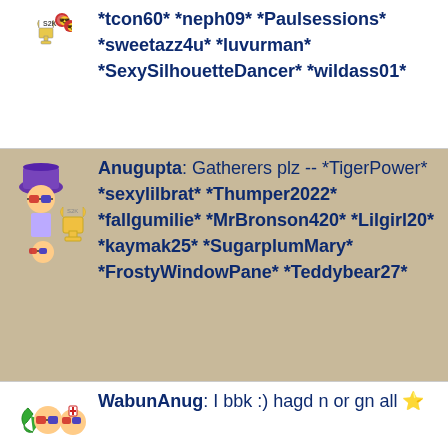*tcon60* *neph09* *Paulsessions* *sweetazz4u* *luvurman* *SexySilhouetteDancer* *wildass01*
Anugupta: Gatherers plz -- *TigerPower* *sexylilbrat* *Thumper2022* *fallgumilie* *MrBronson420* *Lilgirl20* *kaymak25* *SugarplumMary* *FrostyWindowPane* *Teddybear27*
WabunAnug: I bbk :) hagd n or gn all
WabunAnug: Ty u to silkee :) n ysvw doll